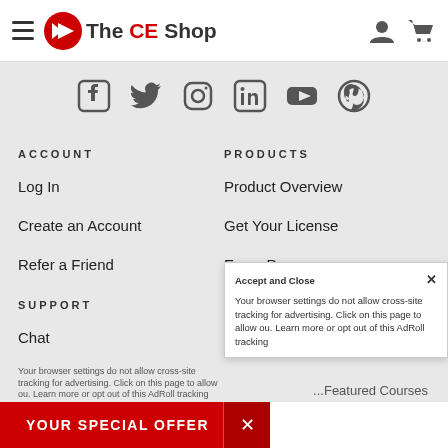The CE Shop — navigation bar with hamburger menu, logo, user icon, cart icon
[Figure (screenshot): Social media icons: Facebook, Twitter, Instagram, LinkedIn, YouTube, Pinterest]
ACCOUNT
Log In
Create an Account
Refer a Friend
SUPPORT
Chat
Email
PRODUCTS
Product Overview
Get Your License
Exam Prep
Post-Licensing
Continuing Education
Upgrade Your License
888.827.0777
Multistate & Custom...
Your browser settings do not allow cross-site tracking for advertising. Click on this page to allow ou. Learn more or opt out of this AdRoll tracking
Accept and Close ✕
YOUR SPECIAL OFFER
...Featured Courses